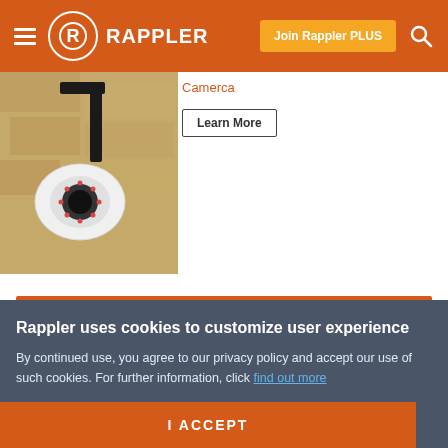RAPPLER — Join Rappler PLUS
[Figure (photo): Security camera mounted on a stone wall, black arm bracket holding a white dome camera with LED ring]
Camerca
Learn More
Leave a comment ˅
Rappler uses cookies to customize user experience
By continued use, you agree to our privacy policy and accept our use of such cookies. For further information, click find out more
I ACCEPT